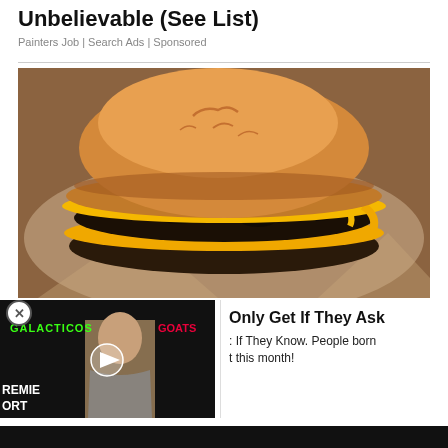Unbelievable (See List)
Painters Job | Search Ads | Sponsored
[Figure (photo): Close-up photo of a double cheeseburger with melted American cheese on a sesame bun, resting on white wax paper.]
[Figure (screenshot): Video ad thumbnail showing a man in a suit, with overlaid text GALACTICOS in green and GOATS in red, and PREMIER SPORTS text at bottom left. Play button in center.]
Only Get If They Ask
: If They Know. People born
t this month!